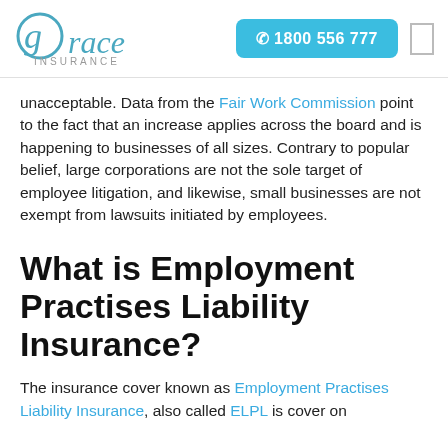grace INSURANCE | ☎ 1800 556 777
unacceptable. Data from the Fair Work Commission point to the fact that an increase applies across the board and is happening to businesses of all sizes. Contrary to popular belief, large corporations are not the sole target of employee litigation, and likewise, small businesses are not exempt from lawsuits initiated by employees.
What is Employment Practises Liability Insurance?
The insurance cover known as Employment Practises Liability Insurance, also called ELPL is cover on